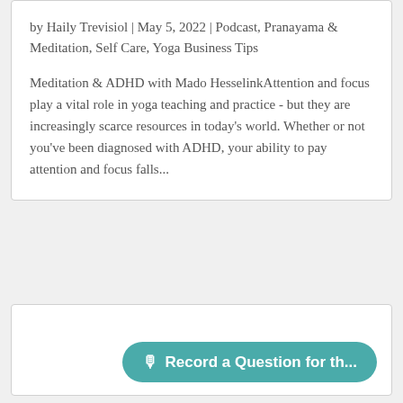by Haily Trevisiol | May 5, 2022 | Podcast, Pranayama & Meditation, Self Care, Yoga Business Tips
Meditation & ADHD with Mado HesselinkAttention and focus play a vital role in yoga teaching and practice - but they are increasingly scarce resources in today's world. Whether or not you've been diagnosed with ADHD, your ability to pay attention and focus falls...
[Figure (screenshot): A teal rounded button with microphone icon and text 'Record a Question for th...']